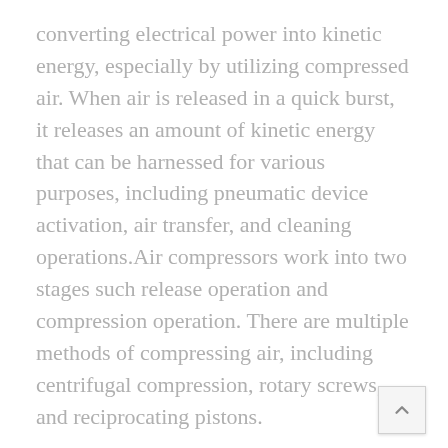converting electrical power into kinetic energy, especially by utilizing compressed air. When air is released in a quick burst, it releases an amount of kinetic energy that can be harnessed for various purposes, including pneumatic device activation, air transfer, and cleaning operations.Air compressors work into two stages such release operation and compression operation. There are multiple methods of compressing air, including centrifugal compression, rotary screws, and reciprocating pistons.
The advent of energy efficient air compressors which are available in the portable model is the major factor expected to boost the demand of air compressor market in coming years. The emergence of next-generation compressed air systems with low maintenance and eco-friendly features is foreseen to shift demand for traditional service models...